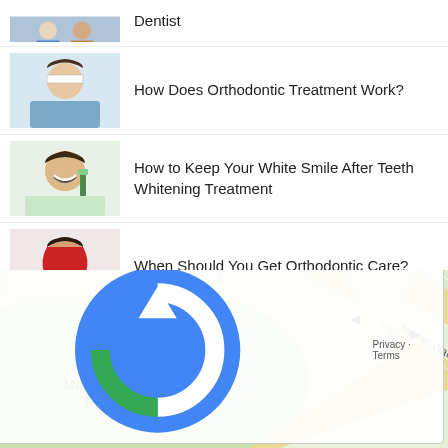Dentist
How Does Orthodontic Treatment Work?
How to Keep Your White Smile After Teeth Whitening Treatment
When Should You Get Orthodontic Care?
An Introduction to Dental Crowns
[Figure (map): Google map showing Meinzinger Park and Homer Watson Blvd with road markings]